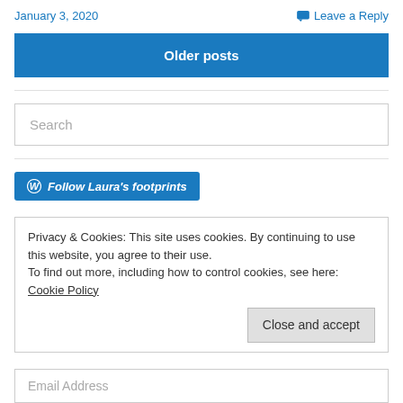January 3, 2020
Leave a Reply
Older posts
Search
Follow Laura's footprints
Privacy & Cookies: This site uses cookies. By continuing to use this website, you agree to their use. To find out more, including how to control cookies, see here: Cookie Policy
Close and accept
Email Address